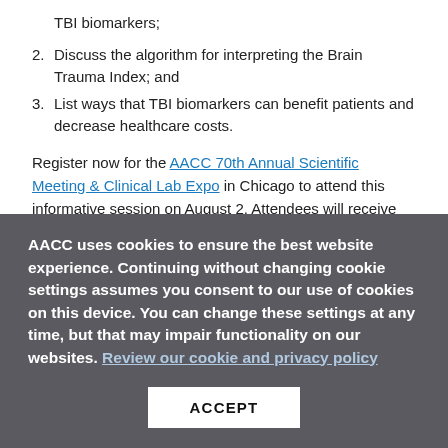TBI biomarkers;
2. Discuss the algorithm for interpreting the Brain Trauma Index; and
3. List ways that TBI biomarkers can benefit patients and decrease healthcare costs.
Register now for the AACC 70th Annual Scientific Meeting & Clinical Lab Expo in Chicago to attend this informative session on August 2. Attendees will receive 1.5 CE hours.
Th-
AACC uses cookies to ensure the best website experience. Continuing without changing cookie settings assumes you consent to our use of cookies on this device. You can change these settings at any time, but that may impair functionality on our websites. Review our cookie and privacy policy
ACCEPT